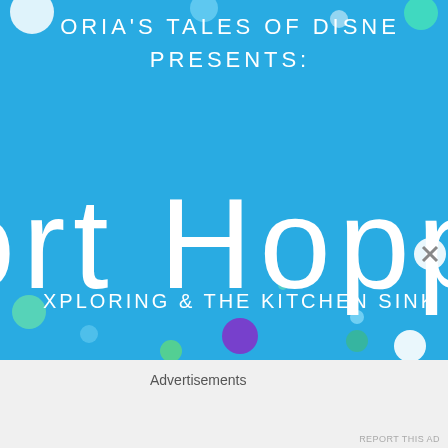[Figure (infographic): Blue banner graphic for 'Gloria's Tales of Disney Presents: Resort Hopping — Exploring & The Kitchen Sink', with decorative colored dots on a sky-blue background, featuring large white thin-weight text. A close/dismiss button (circled X) appears at the lower right.]
Advertisements